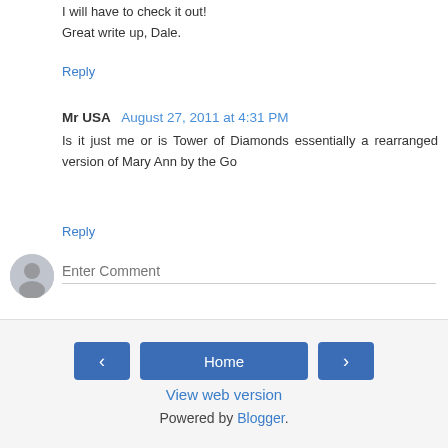I will have to check it out!
Great write up, Dale.
Reply
Mr USA  August 27, 2011 at 4:31 PM
Is it just me or is Tower of Diamonds essentially a rearranged version of Mary Ann by the Go
Reply
[Figure (illustration): User avatar placeholder circle with person silhouette icon]
Enter Comment
‹
Home
›
View web version
Powered by Blogger.